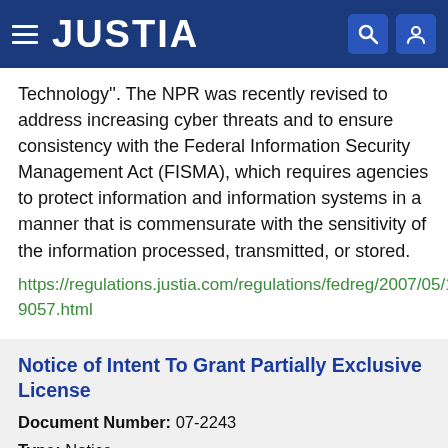JUSTIA
Technology''. The NPR was recently revised to address increasing cyber threats and to ensure consistency with the Federal Information Security Management Act (FISMA), which requires agencies to protect information and information systems in a manner that is commensurate with the sensitivity of the information processed, transmitted, or stored.
https://regulations.justia.com/regulations/fedreg/2007/05/10/E7-9057.html
Notice of Intent To Grant Partially Exclusive License
Document Number: 07-2243
Type: Notice
Date: 2007-05-08
Agency: National Aeronautics and Space Administration, Agencies and Commissions